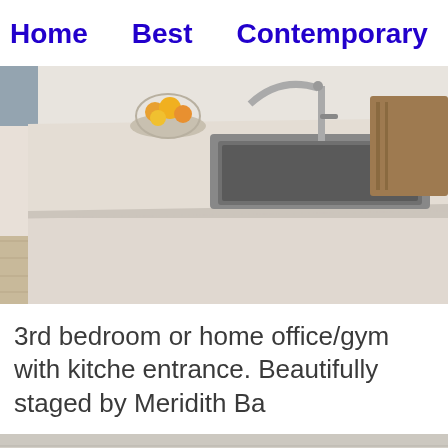Home   Best   Contemporary   Mod
[Figure (photo): Modern kitchen island with stainless steel undermount sink, chrome faucet, white quartz countertop, wicker bar chairs on the left, bowl of fruit on the counter, wood-look tile flooring, basket on the right.]
3rd bedroom or home office/gym with kitche entrance. Beautifully staged by Meridith Ba
[Figure (photo): Interior ceiling detail with white shiplap-style wood panels and recessed lighting, showing part of a room.]